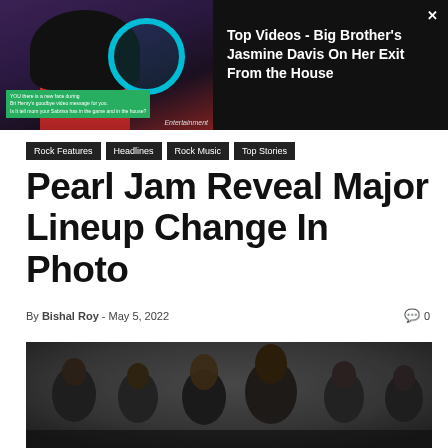[Figure (screenshot): Video thumbnail showing a woman with a teal circle graphic overlay, styled as an entertainment video player]
Top Videos - Big Brother's Jasmine Davis On Her Exit From the House
Rock Features
Headlines
Rock Music
Top Stories
Pearl Jam Reveal Major Lineup Change In Photo
By Bishal Roy - May 5, 2022   0
[Figure (photo): Pearl Jam band members standing together in a dark moody setting, group photo]